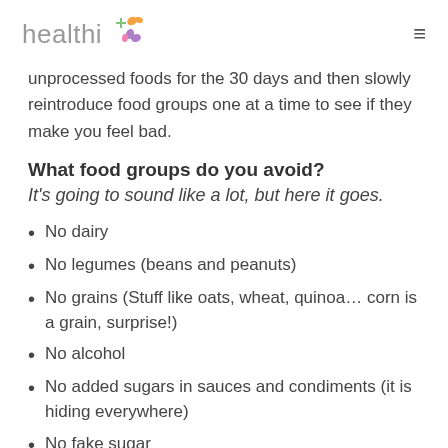healthi
unprocessed foods for the 30 days and then slowly reintroduce food groups one at a time to see if they make you feel bad.
What food groups do you avoid?
It’s going to sound like a lot, but here it goes.
No dairy
No legumes (beans and peanuts)
No grains (Stuff like oats, wheat, quinoa… corn is a grain, surprise!)
No alcohol
No added sugars in sauces and condiments (it is hiding everywhere)
No fake sugar